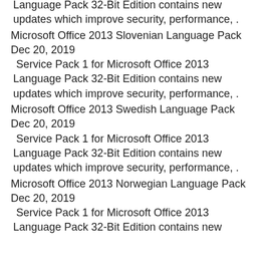Language Pack 32-Bit Edition contains new updates which improve security, performance, .
Microsoft Office 2013 Slovenian Language Pack
Dec 20, 2019
Service Pack 1 for Microsoft Office 2013 Language Pack 32-Bit Edition contains new updates which improve security, performance, .
Microsoft Office 2013 Swedish Language Pack
Dec 20, 2019
Service Pack 1 for Microsoft Office 2013 Language Pack 32-Bit Edition contains new updates which improve security, performance, .
Microsoft Office 2013 Norwegian Language Pack
Dec 20, 2019
Service Pack 1 for Microsoft Office 2013 Language Pack 32-Bit Edition contains new